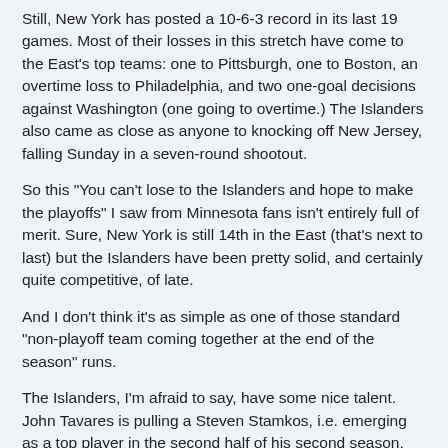Still, New York has posted a 10-6-3 record in its last 19 games. Most of their losses in this stretch have come to the East's top teams: one to Pittsburgh, one to Boston, an overtime loss to Philadelphia, and two one-goal decisions against Washington (one going to overtime.) The Islanders also came as close as anyone to knocking off New Jersey, falling Sunday in a seven-round shootout.
So this "You can't lose to the Islanders and hope to make the playoffs" I saw from Minnesota fans isn't entirely full of merit. Sure, New York is still 14th in the East (that's next to last) but the Islanders have been pretty solid, and certainly quite competitive, of late.
And I don't think it's as simple as one of those standard "non-playoff team coming together at the end of the season" runs.
The Islanders, I'm afraid to say, have some nice talent. John Tavares is pulling a Steven Stamkos, i.e. emerging as a top player in the second half of his second season. He had 16 points in 14 February games and three so far in four March games. Matt Moulson is on the verge of another 30 goal